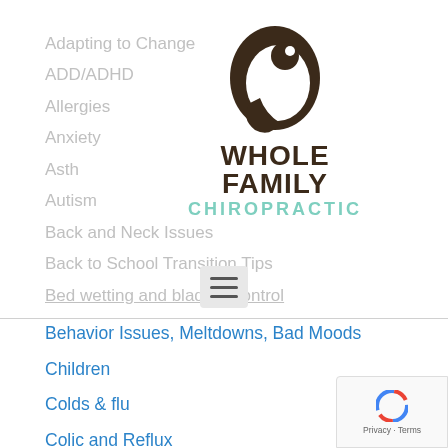Adapting to Change
ADD/ADHD
Allergies
Anxiety
Asthma
Autism
Back and Neck Issues
Back to School Transition Tips
Bed wetting and bladder control
[Figure (logo): Whole Family Chiropractic logo: dark brown stylized leaf/chiro icon above bold dark text 'WHOLE FAMILY' and teal text 'CHIROPRACTIC']
Behavior Issues, Meltdowns, Bad Moods
Children
Colds & flu
Colic and Reflux
Constipation and Digestion